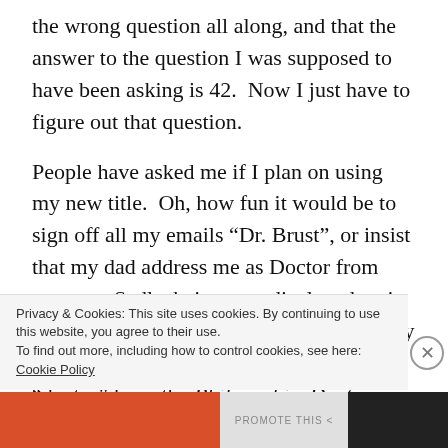the wrong question all along, and that the answer to the question I was supposed to have been asking is 42.  Now I just have to figure out that question.
People have asked me if I plan on using my new title.  Oh, how fun it would be to sign off all my emails “Dr. Brust”, or insist that my dad address me as Doctor from now on.  Sadly, being a medical student is the one instance where I feel I can’t use my title.  Because physicians stole the term “doctor” from the Philosophiæ Doctors a long time ago, it would be too confusing for the patients.  They might
Privacy & Cookies: This site uses cookies. By continuing to use this website, you agree to their use.
To find out more, including how to control cookies, see here: Cookie Policy
Close and accept